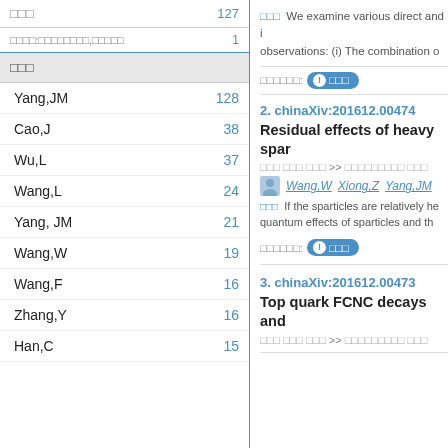□□□   127
□□□□:□□□□□□□□,□□□□□   1
□□□
Yang,JM   128
Cao,J   38
Wu,L   37
Wang,L   24
Yang, JM   21
Wang,W   19
Wang,F   16
Zhang,Y   16
Han,C   15
□□□  We examine various direct and i observations: (i) The combination o
□□□□□□: □□□
2. chinaXiv:201612.00474
Residual effects of heavy spar
□□□   □□□ □□□  >>  □□□□□□□□□   □□□
Wang,W   Xiong,Z   Yang,JM
□□□  If the sparticles are relatively he quantum effects of sparticles and th
□□□□□□: □□□
3. chinaXiv:201612.00473
Top quark FCNC decays and
□□□   □□□ □□□  >>  □□□□□□□□□   □□□